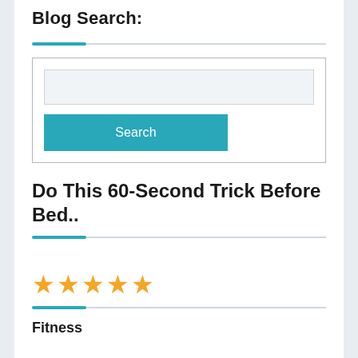Blog Search:
[Figure (screenshot): Search widget with text input field and teal Search button]
Do This 60-Second Trick Before Bed..
[Figure (infographic): Five orange star rating icons]
Fitness